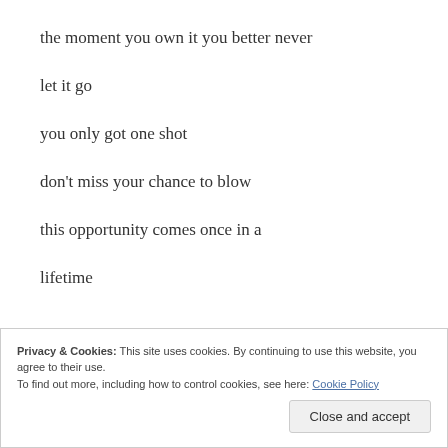the moment you own it you better never
let it go
you only got one shot
don’t miss your chance to blow
this opportunity comes once in a
lifetime
Privacy & Cookies: This site uses cookies. By continuing to use this website, you agree to their use.
To find out more, including how to control cookies, see here: Cookie Policy
Close and accept